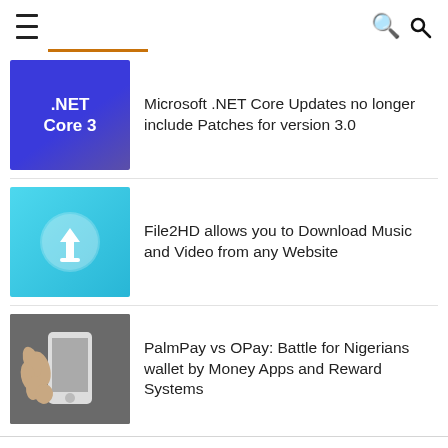Navigation bar with hamburger menu and search icon
Microsoft .NET Core Updates no longer include Patches for version 3.0
File2HD allows you to Download Music and Video from any Website
PalmPay vs OPay: Battle for Nigerians wallet by Money Apps and Reward Systems
Awards
[Figure (illustration): Award badge/medal illustration with a smiley face and laurel wings on a gold medallion]